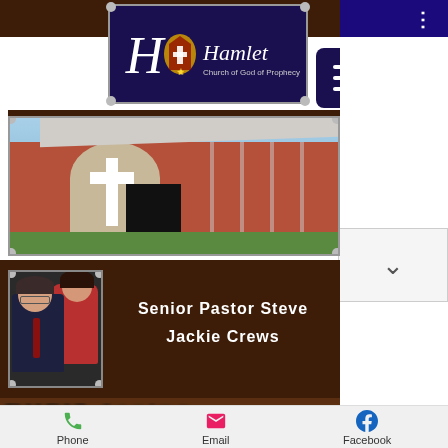[Figure (logo): Hamlet Church of God of Prophecy logo on dark navy background with decorative H initial and church crest icon]
[Figure (photo): Exterior photograph of Hamlet Church of God of Prophecy building - brick church with white cross on stone arch facade]
Senior Pastor Steve Jackie Crews
[Figure (photo): Portrait photo of Senior Pastor Steve Jackie Crews - man and woman posed together]
Phone   Email   Facebook